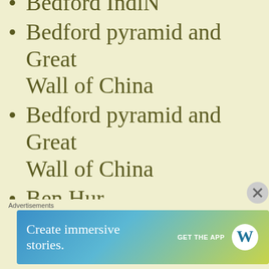Bedford IndiN
Bedford pyramid and Great Wall of China
Bedford pyramid and Great Wall of China
Ben Hur
Best Picture Part 1
Best Picture Part 10
Best Picture Part 2
Best Picture Part 9
Best Picture Winners Part 3